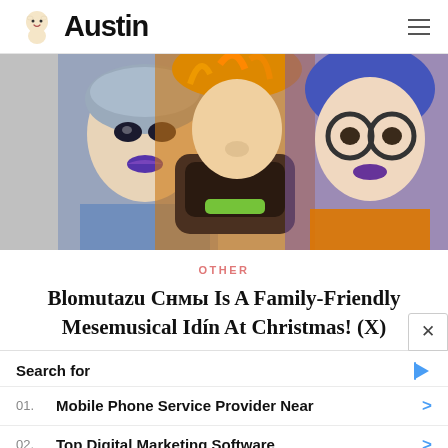Austin
[Figure (photo): Three costumed performers in theatrical makeup and colorful wigs: left person in silver/blue with dramatic makeup and purple lips, center person with orange wild hair wearing an orange space-suit helmet, right person with blue/purple hair wearing orange vest and round glasses with purple lips.]
OTHER
Blomutazu Снмы Is A Family-Friendly Mesemusical Idín At Christmas! (X)
Search for
01. Mobile Phone Service Provider Near
02. Top Digital Marketing Software
Yahoo! Search | Sponsored